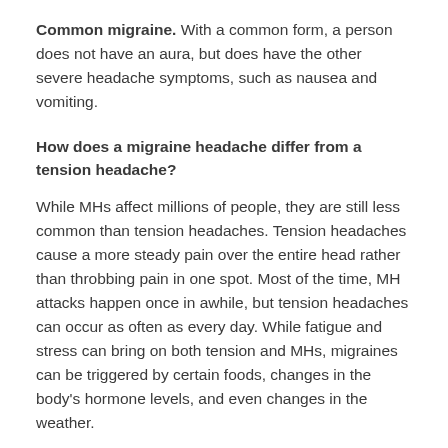Common migraine. With a common form, a person does not have an aura, but does have the other severe headache symptoms, such as nausea and vomiting.
How does a migraine headache differ from a tension headache?
While MHs affect millions of people, they are still less common than tension headaches. Tension headaches cause a more steady pain over the entire head rather than throbbing pain in one spot. Most of the time, MH attacks happen once in awhile, but tension headaches can occur as often as every day. While fatigue and stress can bring on both tension and MHs, migraines can be triggered by certain foods, changes in the body's hormone levels, and even changes in the weather.
There are also differences in how these two types of headaches respond to treatment with medicines. While some